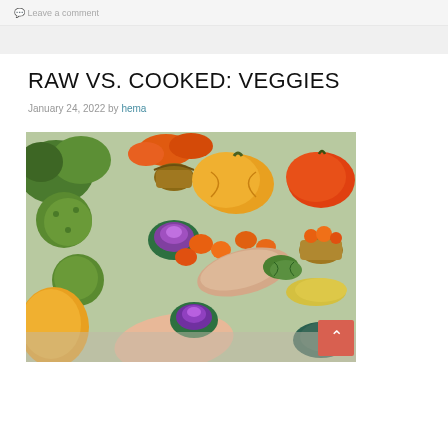Leave a comment
RAW VS. COOKED: VEGGIES
January 24, 2022 by hema
[Figure (photo): A colorful arrangement of various raw vegetables and gourds including pumpkins, squash, purple ornamental cabbage, orange mini pumpkins, green moss balls, and other seasonal produce displayed outdoors.]